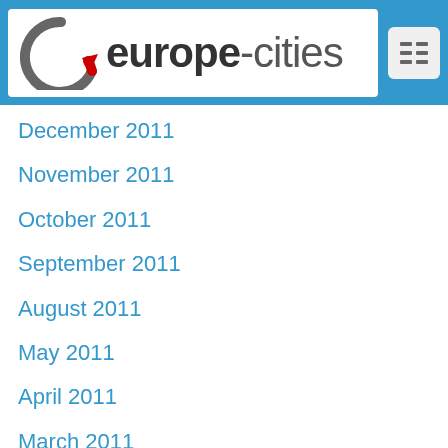[Figure (logo): europe-cities website logo with circular arrow icon in grey and red, white background, on blue header bar]
December 2011
November 2011
October 2011
September 2011
August 2011
May 2011
April 2011
March 2011
November 2010
August 2010